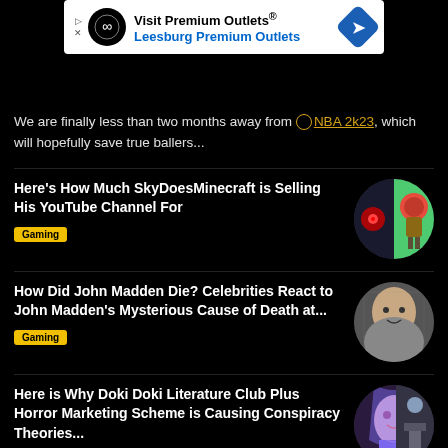[Figure (other): Advertisement banner for Visit Premium Outlets / Leesburg Premium Outlets with logo and blue arrow icon]
We are finally less than two months away from NBA 2k23, which will hopefully save true ballers...
Here's How Much SkyDoesMinecraft is Selling His YouTube Channel For
Gaming
How Did John Madden Die? Celebrities React to John Madden's Mysterious Cause of Death at...
Gaming
Here is Why Doki Doki Literature Club Plus Horror Marketing Scheme is Causing Conspiracy Theories...
Gaming
Seattle NYE Needle Firework Show Uses Halo Music from Video Game in Historical Moment